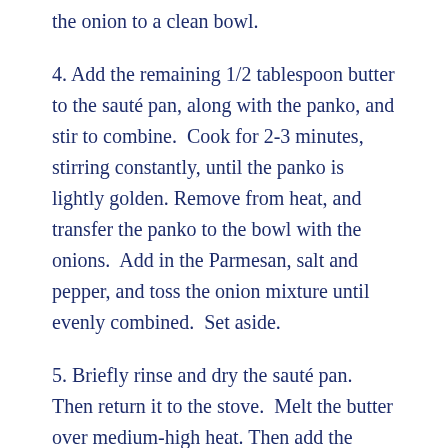the onion to a clean bowl.
4. Add the remaining 1/2 tablespoon butter to the sauté pan, along with the panko, and stir to combine.  Cook for 2-3 minutes, stirring constantly, until the panko is lightly golden.  Remove from heat, and transfer the panko to the bowl with the onions.  Add in the Parmesan, salt and pepper, and toss the onion mixture until evenly combined.  Set aside.
5. Briefly rinse and dry the sauté pan.  Then return it to the stove.  Melt the butter over medium-high heat. Then add the mushrooms and sauté for 5 minutes, stirring occasionally, until lightly browned and soft.  Add the garlic and sauté for 1-2 more minutes, stirring occasionally,